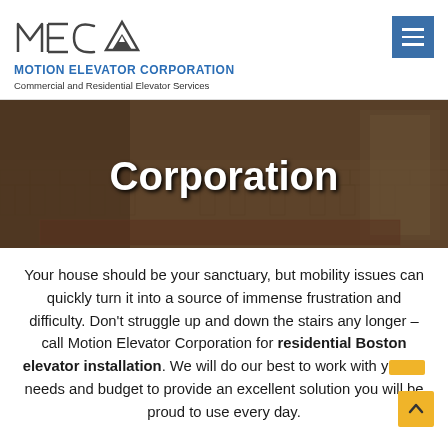[Figure (logo): MEC logo with triangle/mountain graphic and text MEC]
MOTION ELEVATOR CORPORATION
Commercial and Residential Elevator Services
[Figure (photo): Hero banner photo showing interior room with hardwood parquet flooring and staircase, dimly lit]
Corporation
Your house should be your sanctuary, but mobility issues can quickly turn it into a source of immense frustration and difficulty. Don't struggle up and down the stairs any longer – call Motion Elevator Corporation for residential Boston elevator installation. We will do our best to work with your needs and budget to provide an excellent solution you will be proud to use every day.